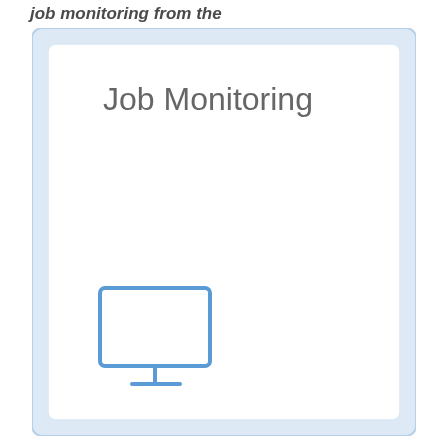job monitoring from the
[Figure (illustration): A card-style UI element with a light blue border and rounded corners, containing the title 'Job Monitoring' at the top in gray text, and a blue monitor/screen icon in the lower-left area of the card.]